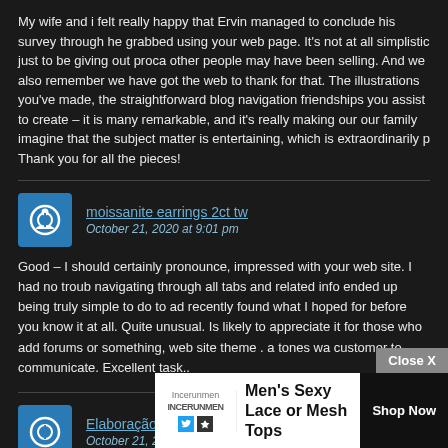My wife and i felt really happy that Ervin managed to conclude his survey through he grabbed using your web page. It's not at all simplistic just to be giving out proca other people may have been selling. And we also remember we have got the web to thank for that. The illustrations you've made, the straightforward blog navigation friendships you assist to create – it is many remarkable, and it's really making our our family imagine that the subject matter is entertaining, which is extraordinarily p Thank you for all the pieces!
moissanite earrings 2ct tw
October 21, 2020 at 9:01 pm
Good – I should certainly pronounce, impressed with your web site. I had no troub navigating through all tabs and related info ended up being truly simple to do to ad recently found what I hoped for before you know it at all. Quite unusual. Is likely to appreciate it for those who add forums or something, web site theme . a tones wa customer to communicate. Excellent task..
Elaboração de Fichas Técnicas
October 21, 2020 at 11:28 pm
Excellent ... de research And he ju ... ephrase that you for lu...
[Figure (other): Advertisement banner: Incerunmen brand ad for Men's Sexy Lace or Mesh Tops with Shop Now button and Close X button]